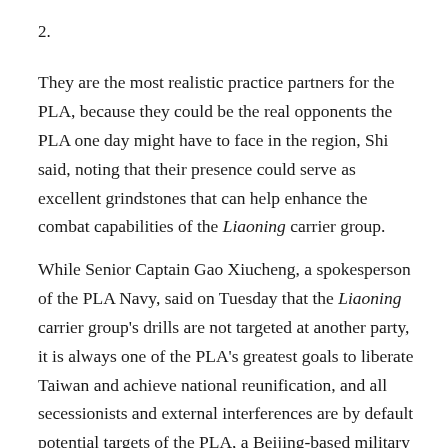2.
They are the most realistic practice partners for the PLA, because they could be the real opponents the PLA one day might have to face in the region, Shi said, noting that their presence could serve as excellent grindstones that can help enhance the combat capabilities of the Liaoning carrier group.
While Senior Captain Gao Xiucheng, a spokesperson of the PLA Navy, said on Tuesday that the Liaoning carrier group's drills are not targeted at another party, it is always one of the PLA's greatest goals to liberate Taiwan and achieve national reunification, and all secessionists and external interferences are by default potential targets of the PLA, a Beijing-based military